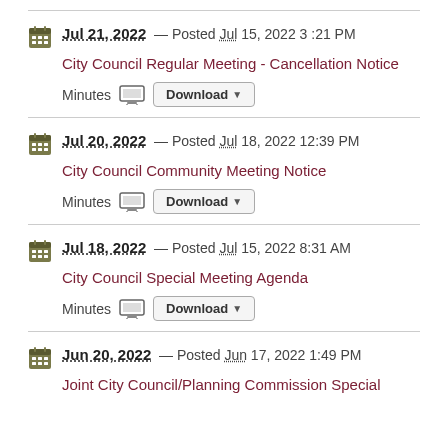Jul 21, 2022 — Posted Jul 15, 2022 3:21 PM
City Council Regular Meeting - Cancellation Notice
Minutes | Download
Jul 20, 2022 — Posted Jul 18, 2022 12:39 PM
City Council Community Meeting Notice
Minutes | Download
Jul 18, 2022 — Posted Jul 15, 2022 8:31 AM
City Council Special Meeting Agenda
Minutes | Download
Jun 20, 2022 — Posted Jun 17, 2022 1:49 PM
Joint City Council/Planning Commission Special